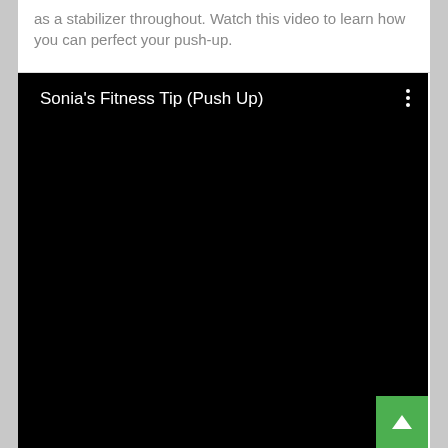as a stabilizer throughout. Watch this video to learn how you can perfect your push-up.
[Figure (screenshot): Embedded video player with black background showing title 'Sonia's Fitness Tip (Push Up)' and a three-dot menu icon in the top right. A green scroll-to-top button appears in the bottom right corner.]